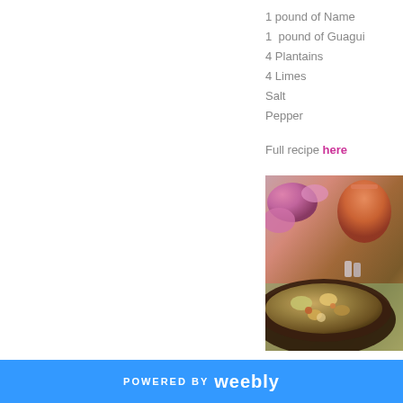1 pound of Name
1  pound of Guagui
4 Plantains
4 Limes
Salt
Pepper
Full recipe here
[Figure (photo): Food dish in a pan with ingredients, orchid flowers and a red cocktail drink in the background, on a table setting.]
POWERED BY weebly